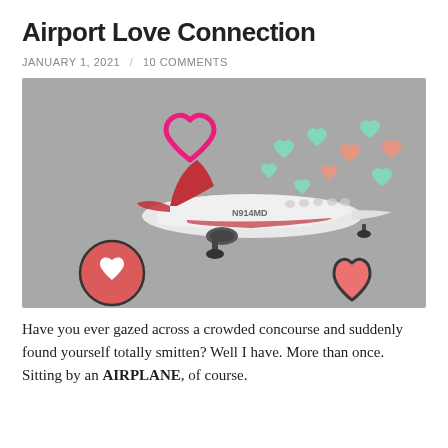Airport Love Connection
JANUARY 1, 2021 / 10 COMMENTS
[Figure (photo): A white private jet with red tail and accent stripe in flight against a grey sky, decorated with illustrated pink, mint green and coral hearts floating above and around the plane, plus a coral circle with white heart icon bottom left and a coral outlined heart bottom right.]
Have you ever gazed across a crowded concourse and suddenly found yourself totally smitten? Well I have. More than once. Sitting by an AIRPLANE, of course.